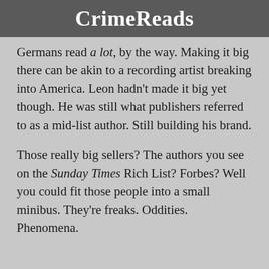CrimeReads
Germans read a lot, by the way. Making it big there can be akin to a recording artist breaking into America. Leon hadn't made it big yet though. He was still what publishers referred to as a mid-list author. Still building his brand.
Those really big sellers? The authors you see on the Sunday Times Rich List? Forbes? Well you could fit those people into a small minibus. They're freaks. Oddities. Phenomena.